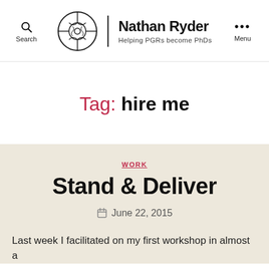Search | Nathan Ryder — Helping PGRs become PhDs | Menu
Tag: hire me
WORK
Stand & Deliver
June 22, 2015
Last week I facilitated on my first workshop in almost a